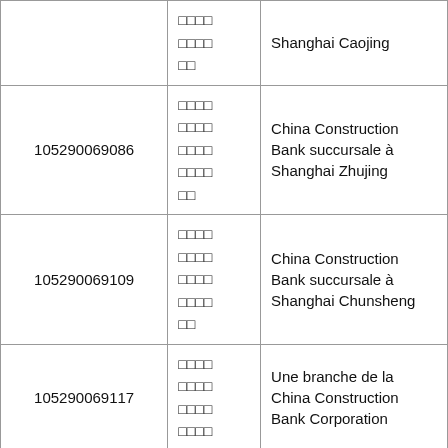|  | □□□□
□□□□
□□ | Shanghai Caojing |
| 105290069086 | □□□□
□□□□
□□□□
□□□□
□□ | China Construction Bank succursale à Shanghai Zhujing |
| 105290069109 | □□□□
□□□□
□□□□
□□□□
□□ | China Construction Bank succursale à Shanghai Chunsheng |
| 105290069117 | □□□□
□□□□
□□□□
□□□□ | Une branche de la China Construction Bank Corporation |